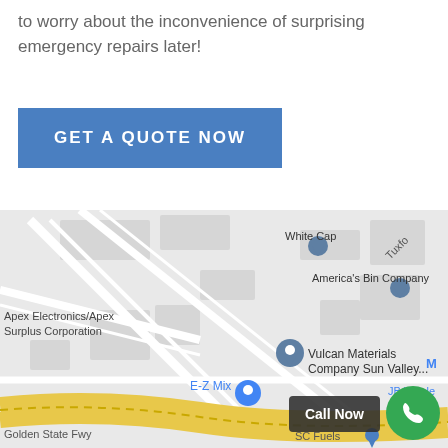to worry about the inconvenience of surprising emergency repairs later!
GET A QUOTE NOW
[Figure (map): Google Maps screenshot showing area near Golden State Fwy with locations: Apex Electronics/Apex Surplus Corporation, White Cap, America's Bin Company, Vulcan Materials Company Sun Valley..., E-Z Mix, JB Whole and Build, SC Fuels, M label, Tuxfo label]
Call Now